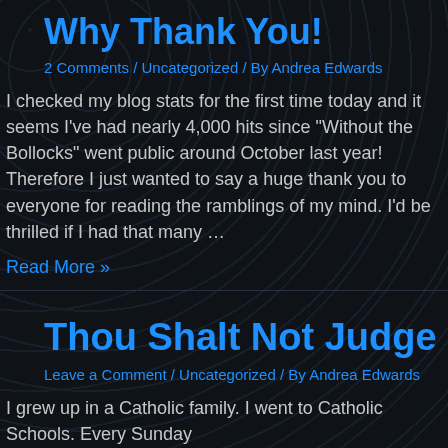Why Thank You!
2 Comments / Uncategorized / By Andrea Edwards
I checked my blog stats for the first time today and it seems I've had nearly 4,000 hits since "Without the Bollocks" went public around October last year! Therefore I just wanted to say a huge thank you to everyone for reading the ramblings of my mind. I'd be thrilled if I had that many …
Read More »
Thou Shalt Not Judge
Leave a Comment / Uncategorized / By Andrea Edwards
I grew up in a Catholic family. I went to Catholic Schools. Every Sunday